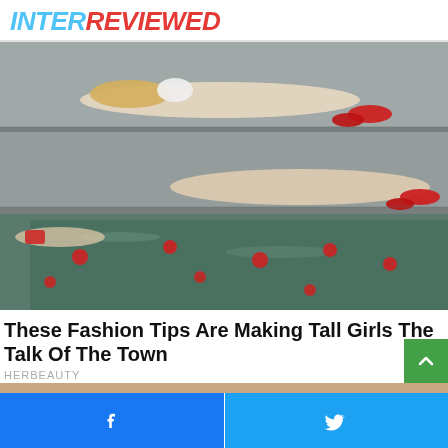INTERREVIEWED
[Figure (photo): Fashion photo of women in light clothing lying on stone steps beside a water feature with red circular objects floating in it.]
These Fashion Tips Are Making Tall Girls The Talk Of The Town
HERBEAUTY
Facebook share | Twitter share